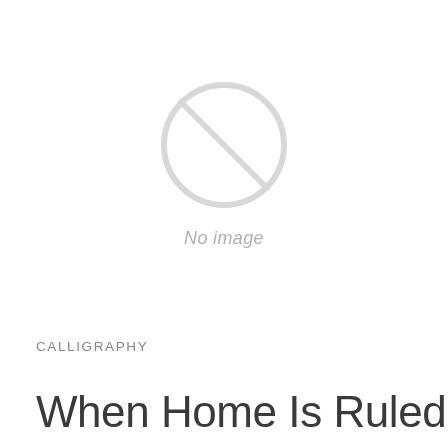[Figure (illustration): No image placeholder: a circle with a diagonal slash through it, rendered in light gray]
CALLIGRAPHY
When Home Is Ruled